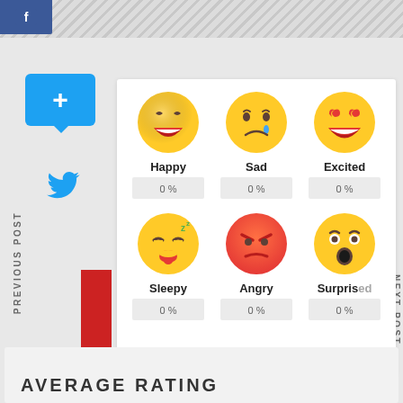[Figure (infographic): Emoji reaction voting widget with 6 options: Happy, Sad, Excited, Sleepy, Angry, Surprised — each showing 0% rating. Left sidebar with social share buttons (Facebook, Twitter, +) and PREVIOUS POST / NEXT POST navigation labels.]
PREVIOUS POST
NEXT POST
Happy
0 %
Sad
0 %
Excited
0 %
Sleepy
0 %
Angry
0 %
Surprised
0 %
AVERAGE RATING